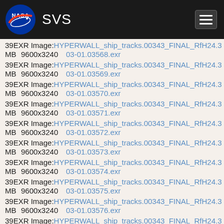[Figure (logo): NASA SVS website header with NASA logo and SVS text on dark background with hamburger menu button]
39   EXR Image:   HYPERWALL_ship_tracks.00343_FINAL_RfH24.3...
MB   9600x3240   03-01.03568.exr
39   EXR Image:   HYPERWALL_ship_tracks.00343_FINAL_RfH24.3...
MB   9600x3240   03-01.03569.exr
39   EXR Image:   HYPERWALL_ship_tracks.00343_FINAL_RfH24.3...
MB   9600x3240   03-01.03570.exr
39   EXR Image:   HYPERWALL_ship_tracks.00343_FINAL_RfH24.3...
MB   9600x3240   03-01.03571.exr
39   EXR Image:   HYPERWALL_ship_tracks.00343_FINAL_RfH24.3...
MB   9600x3240   03-01.03572.exr
39   EXR Image:   HYPERWALL_ship_tracks.00343_FINAL_RfH24.3...
MB   9600x3240   03-01.03573.exr
39   EXR Image:   HYPERWALL_ship_tracks.00343_FINAL_RfH24.3...
MB   9600x3240   03-01.03574.exr
39   EXR Image:   HYPERWALL_ship_tracks.00343_FINAL_RfH24.3...
MB   9600x3240   03-01.03575.exr
39   EXR Image:   HYPERWALL_ship_tracks.00343_FINAL_RfH24.3...
MB   9600x3240   03-01.03576.exr
39   EXR Image:   HYPERWALL_ship_tracks.00343_FINAL_RfH24.3...
MB   9600x3240   03-01.03577.exr